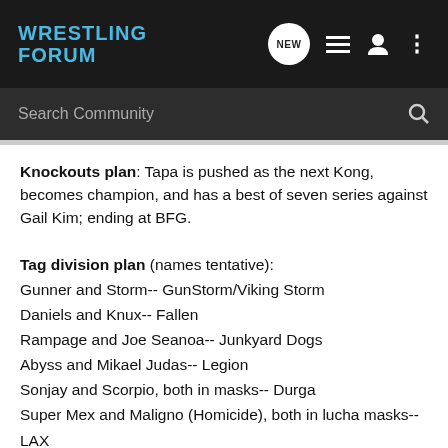Wrestling Forum - NEW [icons]
Search Community
Knockouts plan: Tapa is pushed as the next Kong, becomes champion, and has a best of seven series against Gail Kim; ending at BFG.
Tag division plan (names tentative):
Gunner and Storm-- GunStorm/Viking Storm
Daniels and Knux-- Fallen
Rampage and Joe Seanoa-- Junkyard Dogs
Abyss and Mikael Judas-- Legion
Sonjay and Scorpio, both in masks-- Durga
Super Mex and Maligno (Homicide), both in lucha masks-- LAX
Jeff and Matt Hardy-- The Hardy Brothers (during 2014)
King Mo and Kenny King-- Knockout Kings (during 2014, TBD)